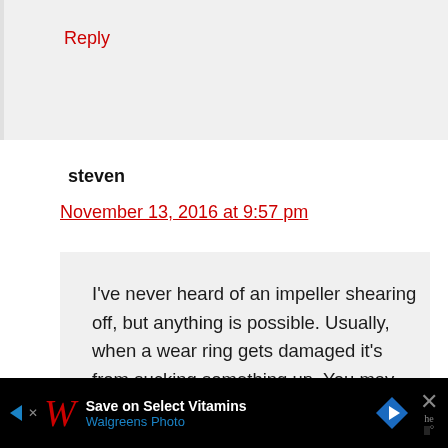Reply
steven
November 13, 2016 at 9:57 pm
I've never heard of an impeller shearing off, but anything is possible. Usually, when a wear ring gets damaged it's from sucking something up. You may not notice running over something and you may not feel anything
[Figure (screenshot): Walgreens advertisement banner at the bottom: 'Save on Select Vitamins / Walgreens Photo' with navigation arrow icon and close button]